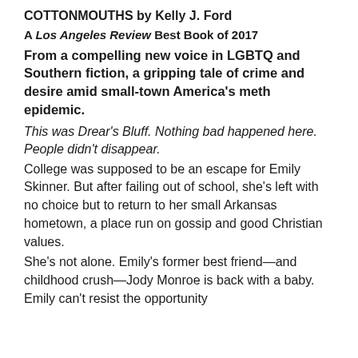COTTONMOUTHS by Kelly J. Ford
A Los Angeles Review Best Book of 2017
From a compelling new voice in LGBTQ and Southern fiction, a gripping tale of crime and desire amid small-town America's meth epidemic.
This was Drear's Bluff. Nothing bad happened here. People didn't disappear.
College was supposed to be an escape for Emily Skinner. But after failing out of school, she's left with no choice but to return to her small Arkansas hometown, a place run on gossip and good Christian values.
She's not alone. Emily's former best friend—and childhood crush—Jody Monroe is back with a baby. Emily can't resist the opportunity